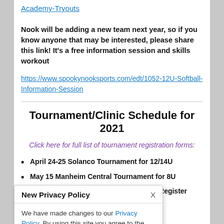Academy-Tryouts
Nook will be adding a new team next year, so if you know anyone that may be interested, please share this link! It's a free information session and skills workout
https://www.spookynooksports.com/edt/1052-12U-Softball-Information-Session
Tournament/Clinic Schedule for 2021
Click here for full list of tournament registration forms:
April 24-25 Solanco Tournament for 12/14U
May 15 Manheim Central Tournament for 8U
May 15-16 CV Tournament for 12/14U - Register Online Here
12U - Register
lled
New Privacy Policy - We have made changes to our Privacy Policy. By using this site you agree to the Privacy Policy and Terms of Service.